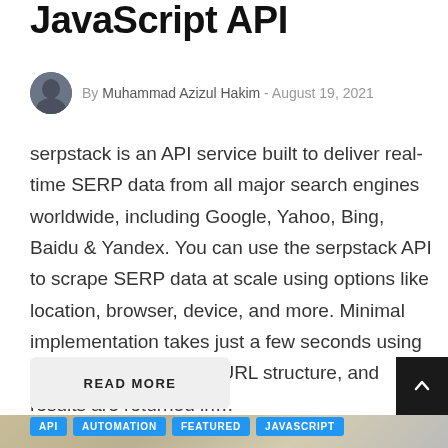JavaScript API
By Muhammad Azizul Hakim - August 19, 2021
serpstack is an API service built to deliver real-time SERP data from all major search engines worldwide, including Google, Yahoo, Bing, Baidu & Yandex. You can use the serpstack API to scrape SERP data at scale using options like location, browser, device, and more. Minimal implementation takes just a few seconds using the simple HTTP GET URL structure, and results are returned in…
READ MORE
[Figure (photo): Bottom portion of an article page showing category tags: API, AUTOMATION, FEATURED, JAVASCRIPT over a blurred photo background]
API
AUTOMATION
FEATURED
JAVASCRIPT